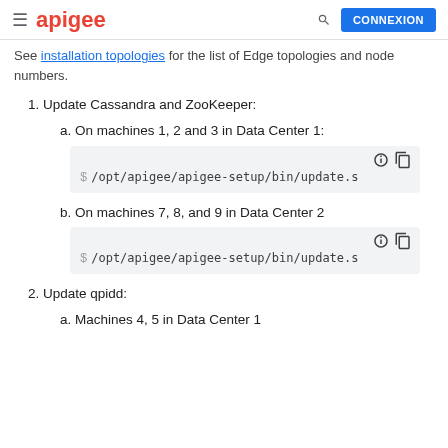apigee  CONNEXION
See installation topologies for the list of Edge topologies and node numbers.
1. Update Cassandra and ZooKeeper:
a. On machines 1, 2 and 3 in Data Center 1:
[Figure (screenshot): Code block showing: $ /opt/apigee/apigee-setup/bin/update.s]
b. On machines 7, 8, and 9 in Data Center 2
[Figure (screenshot): Code block showing: $ /opt/apigee/apigee-setup/bin/update.s]
2. Update qpidd:
a. Machines 4, 5 in Data Center 1